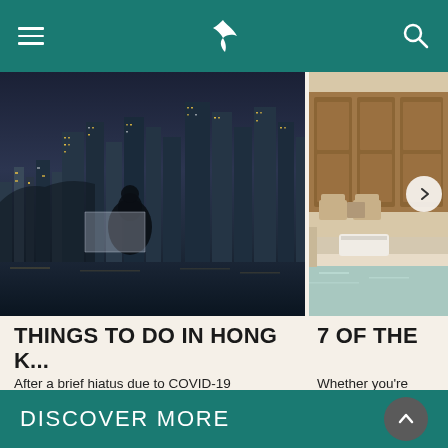Cathay Pacific navigation bar with hamburger menu, logo, and search icon
[Figure (photo): Night cityscape of Hong Kong with silhouette of person and illuminated skyscrapers reflected on water]
[Figure (photo): Outdoor resort poolside area with wooden doors and white towels on ledge]
THINGS TO DO IN HONG K...
After a brief hiatus due to COVID-19 restrictions, Hong Kong's fantastic calendar of events is bac...
7 OF THE
Whether you're tailored weight
DISCOVER MORE